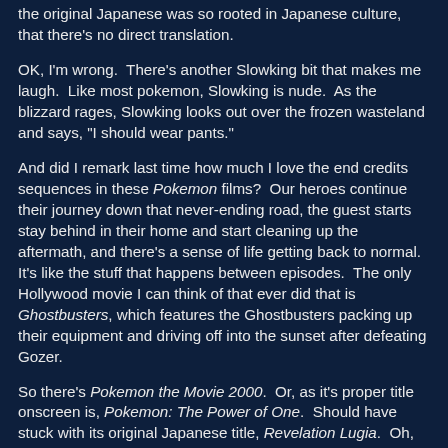the original Japanese was so rooted in Japanese culture, that there's no direct translation.
OK, I'm wrong.  There's another Slowking bit that makes me laugh.  Like most pokemon, Slowking is nude.  As the blizzard rages, Slowking looks out over the frozen wasteland and says, "I should wear pants."
And did I remark last time how much I love the end credits sequences in these Pokemon films?  Our heroes continue their journey down that never-ending road, the guest starts stay behind in their home and start cleaning up the aftermath, and there's a sense of life getting back to normal.  It's like the stuff that happens between episodes.  The only Hollywood movie I can think of that ever did that is Ghostbusters, which features the Ghostbusters packing up their equipment and driving off into the sunset after defeating Gozer.
So there's Pokemon the Movie 2000.  Or, as it's proper title onscreen is, Pokemon: The Power of One.  Should have stuck with its original Japanese title, Revelation Lugia.  Oh,